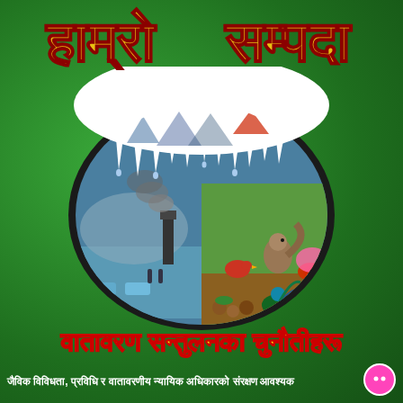हाम्रो सम्पदा
[Figure (illustration): A circular illustration showing environmental contrasts: industrial pollution with smokestacks and cars on left side, and wildlife/nature with birds, a squirrel, peacock, and mushroom on right side. The top of the circle is covered with melting snow/ice, representing glaciers melting due to climate change. The background is dark stone-like texture.]
वातावरण सन्तुलनका चुनौतीहरू
जैविक विविधता, प्रविधि र वातावरणीय न्यायिक अधिकारको संरक्षण आवश्यक